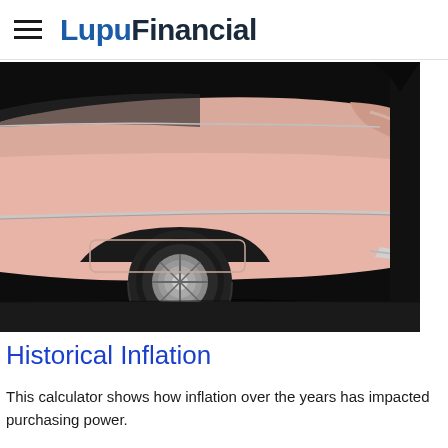LupuFinancial
[Figure (photo): Close-up photo of a pink classic car (rear quarter panel and wheel) against a dark background]
Historical Inflation
This calculator shows how inflation over the years has impacted purchasing power.